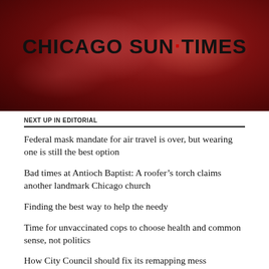[Figure (photo): Chicago Sun-Times masthead logo over a dark red blurred background (possibly a virus or abstract red imagery). The text 'CHICAGO SUN-TIMES' appears in bold black capital letters with a red dot between 'SUN' and 'TIMES'.]
NEXT UP IN EDITORIAL
Federal mask mandate for air travel is over, but wearing one is still the best option
Bad times at Antioch Baptist: A roofer’s torch claims another landmark Chicago church
Finding the best way to help the needy
Time for unvaccinated cops to choose health and common sense, not politics
How City Council should fix its remapping mess